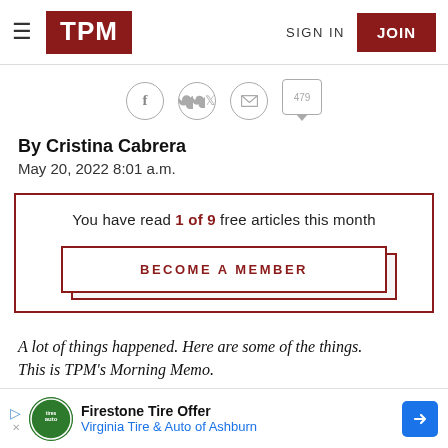TPM — SIGN IN | JOIN
[Figure (screenshot): Social sharing icons row: Facebook, Twitter, Email, and comment count 479]
By Cristina Cabrera
May 20, 2022 8:01 a.m.
You have read 1 of 9 free articles this month
BECOME A MEMBER
A lot of things happened. Here are some of the things.
This is TPM's Morning Memo.
[Figure (screenshot): Advertisement: Firestone Tire Offer — Virginia Tire & Auto of Ashburn]